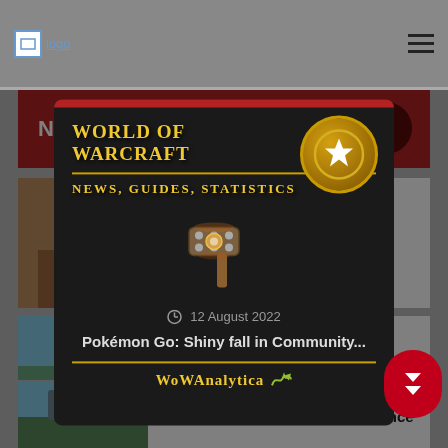logo
Newest articles
[Figure (photo): Thumbnail image of a person for article 1]
12 August 2022
Work to improve the Battle League with...
[Figure (photo): Thumbnail landscape image for article 2 (Pokémon Go: Shiny fall in Community...)]
12 August 2022
Pokémon Go: Shiny fall in Community...
[Figure (screenshot): World of Warcraft News, Guides, Statistics overlay modal with WoWAnalytica branding and a hammer image]
[Figure (photo): Thumbnail landscape mountain image for article 3]
12 August 2022
Pokémon Go: After half a year once